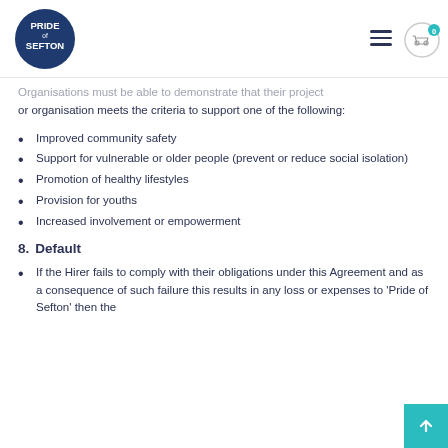Pride of Sefton
Organisations must be able to demonstrate that their project or organisation meets the criteria to support one of the following:
Improved community safety
Support for vulnerable or older people (prevent or reduce social isolation)
Promotion of healthy lifestyles
Provision for youths
Increased involvement or empowerment
8. Default
If the Hirer fails to comply with their obligations under this Agreement and as a consequence of such failure this results in any loss or expenses to 'Pride of Sefton' then the